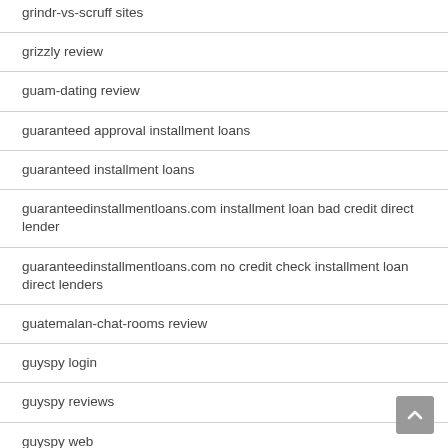grindr-vs-scruff sites
grizzly review
guam-dating review
guaranteed approval installment loans
guaranteed installment loans
guaranteedinstallmentloans.com installment loan bad credit direct lender
guaranteedinstallmentloans.com no credit check installment loan direct lenders
guatemalan-chat-rooms review
guyspy login
guyspy reviews
guyspy web
habbo reviews